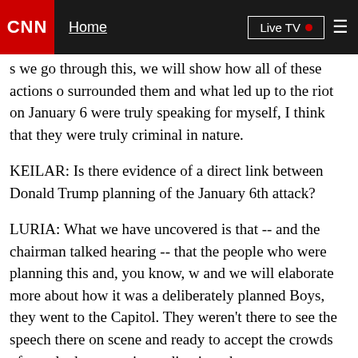CNN | Home | Live TV
s we go through this, we will show how all of these actions o surrounded them and what led up to the riot on January 6 were truly speaking for myself, I think that they were truly criminal in nature.
KEILAR: Is there evidence of a direct link between Donald Trump planning of the January 6th attack?
LURIA: What we have uncovered is that -- and the chairman talked hearing -- that the people who were planning this and, you know, w and we will elaborate more about how it was a deliberately planned Boys, they went to the Capitol. They weren't there to see the speech there on scene and ready to accept the crowds of people that came i coordination, there were conversations, there were people, there we through all of this further into the hearings.